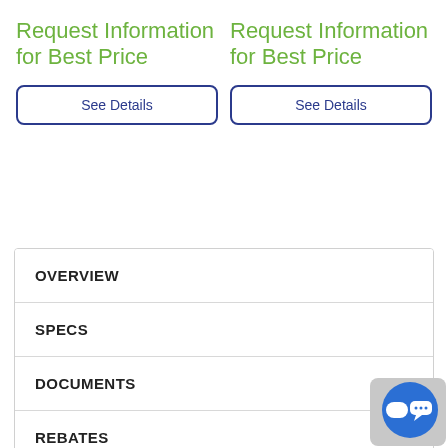Request Information for Best Price
See Details
Request Information for Best Price
See Details
OVERVIEW
SPECS
DOCUMENTS
REBATES
VIDEOS